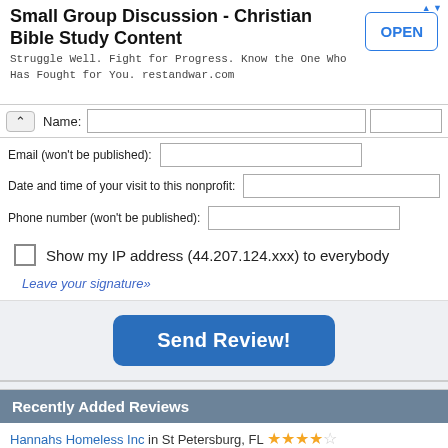[Figure (screenshot): Ad banner for 'Small Group Discussion - Christian Bible Study Content' with OPEN button]
Name:
Email (won't be published):
Date and time of your visit to this nonprofit:
Phone number (won't be published):
Show my IP address (44.207.124.xxx) to everybody
Leave your signature»
Send Review!
Recently Added Reviews
Hannahs Homeless Inc in St Petersburg, FL ★★★★☆
Hope Chapel Inc in Estero, FL ★☆☆☆☆
Veteran Enforcers Motorcycle Association Vema in Jacksonville, FL ★★★☆